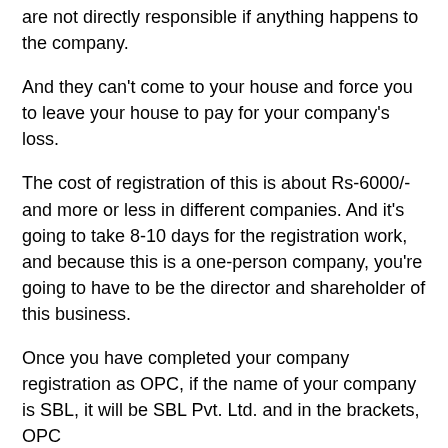are not directly responsible if anything happens to the company.
And they can't come to your house and force you to leave your house to pay for your company's loss.
The cost of registration of this is about Rs-6000/- and more or less in different companies. And it's going to take 8-10 days for the registration work, and because this is a one-person company, you're going to have to be the director and shareholder of this business.
Once you have completed your company registration as OPC, if the name of your company is SBL, it will be SBL Pvt. Ltd. and in the brackets, OPC
C. Private Limited Company (Pvt. Ltd.)